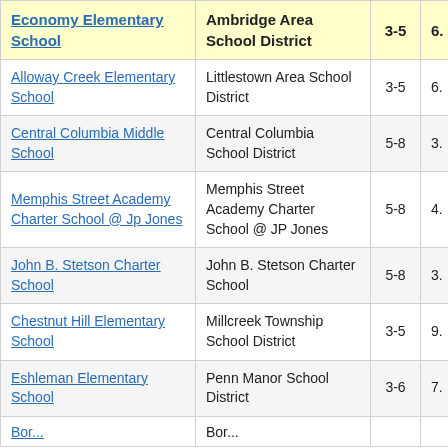| School | District | Grades | Value |
| --- | --- | --- | --- |
| Economy Elementary School | Ambridge Area School District | 3-5 | 6. |
| Alloway Creek Elementary School | Littlestown Area School District | 3-5 | 6. |
| Central Columbia Middle School | Central Columbia School District | 5-8 | 3. |
| Memphis Street Academy Charter School @ Jp Jones | Memphis Street Academy Charter School @ JP Jones | 5-8 | 4. |
| John B. Stetson Charter School | John B. Stetson Charter School | 5-8 | 3. |
| Chestnut Hill Elementary School | Millcreek Township School District | 3-5 | 9. |
| Eshleman Elementary School | Penn Manor School District | 3-6 | 7. |
| [partial row] | [partial row] |  |  |